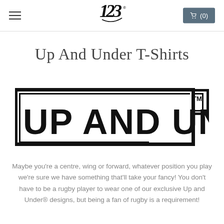123 logo / cart (0)
Up And Under T-Shirts
[Figure (logo): Up And Under brand logo — bold black block letters reading 'UP AND UNDER' with double border lines and TM symbol]
Maybe you're a centre, wing or forward, whatever position you play we're sure we have something that'll take your fancy! You don't have to be a rugby player to wear one of our exclusive Up and Under® designs, but being a fan of rugby is a requirement!